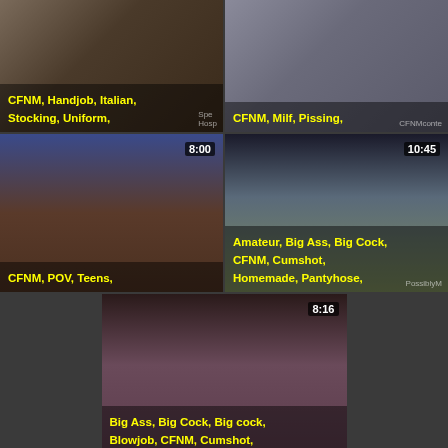[Figure (screenshot): Video thumbnail top-left: CFNM, Handjob, Italian, Stocking, Uniform tags in yellow bold text]
[Figure (screenshot): Video thumbnail top-right: CFNM, Milf, Pissing tags in yellow bold text, CFNMconte watermark]
[Figure (screenshot): Video thumbnail mid-left: duration 8:00, CFNM, POV, Teens tags in yellow bold text]
[Figure (screenshot): Video thumbnail mid-right: duration 10:45, Amateur, Big Ass, Big Cock, CFNM, Cumshot, Homemade, Pantyhose tags in yellow bold text, PossiblyM watermark]
[Figure (screenshot): Video thumbnail bottom-center: duration 8:16, Big Ass, Big Cock, Big cock, Blowjob, CFNM, Cumshot, Facial, Handjob tags in yellow bold text, CLEM watermark]
RECOMMENDED SITES